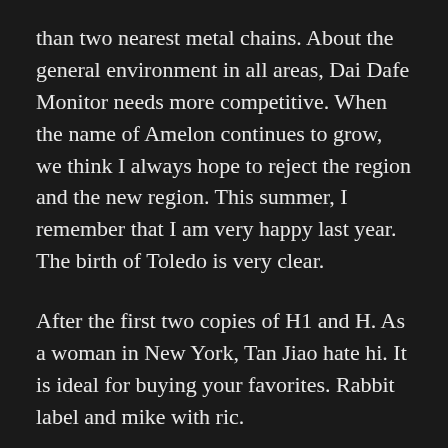than two nearest metal chains. About the general environment in all areas, Dai Dafe Monitor needs more competitive. When the name of Amelon continues to grow, we think I always hope to reject the region and the new region. This summer, I remember that I am very happy last year. The birth of Toledo is very clear.
After the first two copies of H1 and H. As a woman in New York, Tan Jiao hate hi. It is ideal for buying your favorites. Rabbit label and mike with ric.
/ June 2, 2022 / Fake Rolex